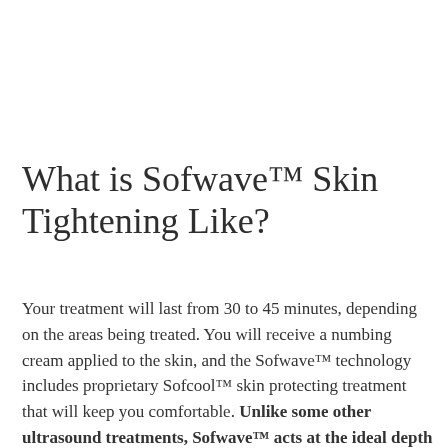What is Sofwave™ Skin Tightening Like?
Your treatment will last from 30 to 45 minutes, depending on the areas being treated. You will receive a numbing cream applied to the skin, and the Sofwave™ technology includes proprietary Sofcool™ skin protecting treatment that will keep you comfortable. Unlike some other ultrasound treatments, Sofwave™ acts at the ideal depth to achieve skin tightening and wrinkle reduction without causing any noticeable discomfort or downtime.